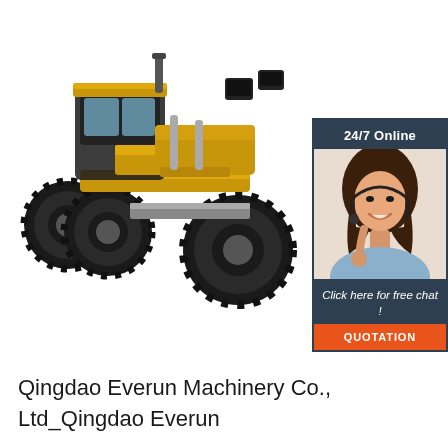[Figure (photo): Yellow motor grader / road grader construction machine on white background]
[Figure (infographic): 24/7 Online customer service chat widget with female operator photo, 'Click here for free chat!' text and orange QUOTATION button]
Qingdao Everun Machinery Co., Ltd_Qingdao Everun